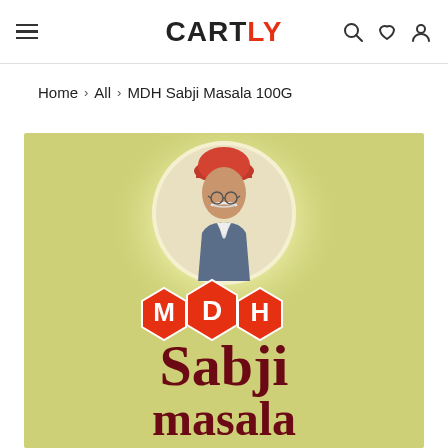CARTLY
Home > All > MDH Sabji Masala 100G
[Figure (photo): MDH Sabji Masala product packaging showing the MDH logo with three red hexagonal badges spelling M D H, a portrait of an elderly man in a red turban inside a glowing circle above the logo, on a yellow-green background. Below the logo is text reading 'Sabji masala' in dark red serif font.]